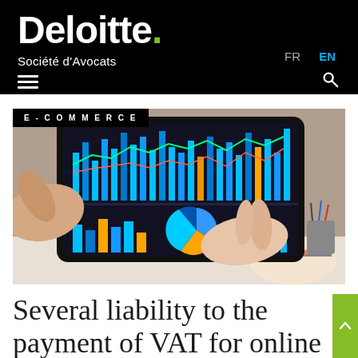Deloitte. Société d'Avocats | FR | EN
[Figure (photo): Person holding a tablet displaying financial analytics charts with bar charts, line charts, and pie chart on screen. E-COMMERCE label overlay in top-left corner.]
Several liability to the payment of VAT for online